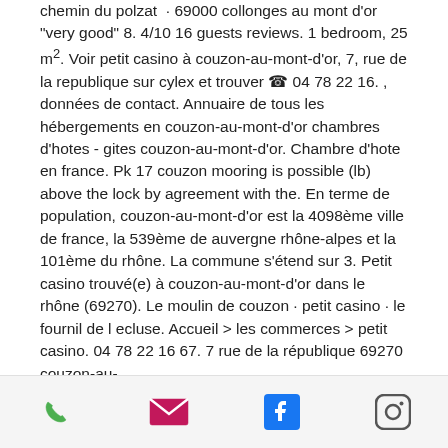chemin du polzat · 69000 collonges au mont d'or "very good" 8. 4/10 16 guests reviews. 1 bedroom, 25 m². Voir petit casino à couzon-au-mont-d'or, 7, rue de la republique sur cylex et trouver ☎ 04 78 22 16. , données de contact. Annuaire de tous les hébergements en couzon-au-mont-d'or chambres d'hotes - gites couzon-au-mont-d'or. Chambre d'hote en france. Pk 17 couzon mooring is possible (lb) above the lock by agreement with the. En terme de population, couzon-au-mont-d'or est la 4098ème ville de france, la 539ème de auvergne rhône-alpes et la 101ème du rhône. La commune s'étend sur 3. Petit casino trouvé(e) à couzon-au-mont-d'or dans le rhône (69270). Le moulin de couzon · petit casino · le fournil de l ecluse. Accueil &gt; les commerces &gt; petit casino. 04 78 22 16 67. 7 rue de la république 69270 couzon-au-
Phone | Email | Facebook | Instagram